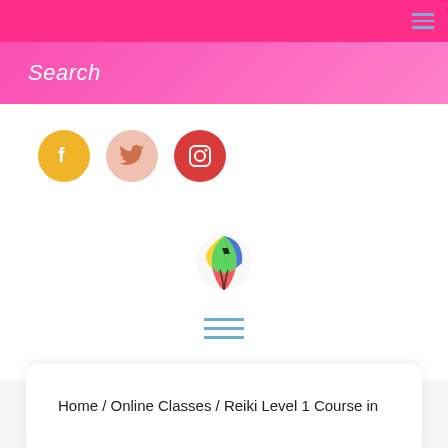Navigation bar with hamburger menu
Search
[Figure (logo): Three social media icon circles: Facebook (yellow/gold), Twitter (light pink/peach), Instagram (red/crimson)]
[Figure (logo): Colorful circular logo with stylized figure/flower design in green, red, blue, yellow]
[Figure (other): Hamburger menu icon (three horizontal blue lines)]
Home / Online Classes / Reiki Level 1 Course in